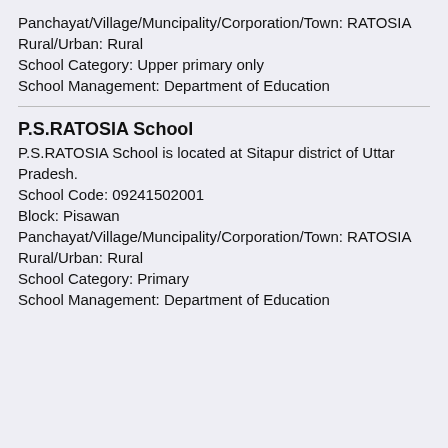Panchayat/Village/Muncipality/Corporation/Town: RATOSIA
Rural/Urban: Rural
School Category: Upper primary only
School Management: Department of Education
P.S.RATOSIA School
P.S.RATOSIA School is located at Sitapur district of Uttar Pradesh.
School Code: 09241502001
Block: Pisawan
Panchayat/Village/Muncipality/Corporation/Town: RATOSIA
Rural/Urban: Rural
School Category: Primary
School Management: Department of Education